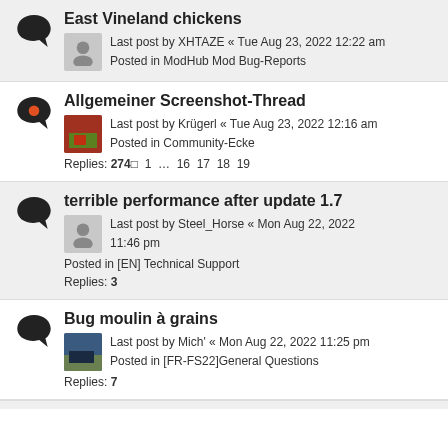East Vineland chickens
Last post by XHTAZE « Tue Aug 23, 2022 12:22 am
Posted in ModHub Mod Bug-Reports
Allgemeiner Screenshot-Thread
Last post by Krügerl « Tue Aug 23, 2022 12:16 am
Posted in Community-Ecke
Replies: 274  1 … 16 17 18 19
terrible performance after update 1.7
Last post by Steel_Horse « Mon Aug 22, 2022 11:46 pm
Posted in [EN] Technical Support
Replies: 3
Bug moulin à grains
Last post by Mich' « Mon Aug 22, 2022 11:25 pm
Posted in [FR-FS22]General Questions
Replies: 7